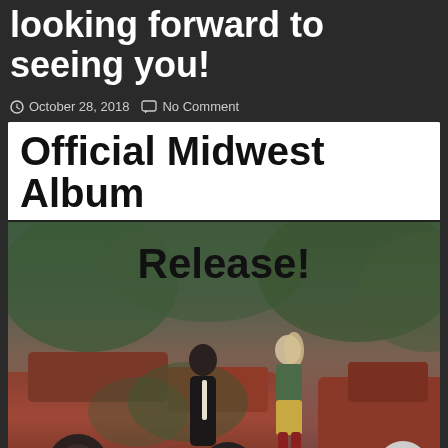looking forward to seeing you!
October 28, 2018   No Comment
[Figure (photo): Promotional photo for Official Midwest Album Release showing a man in dark jacket and tie leaning on a rusty vintage red truck, and a woman in green sweater and gold skirt with red boots standing beside the truck, with overgrown vegetation in background. Text overlay reads 'Release!' in bold black font.]
Official Midwest Album
Release!